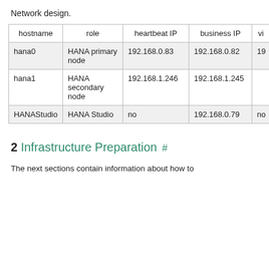Network design.
| hostname | role | heartbeat IP | business IP | vi… |
| --- | --- | --- | --- | --- |
| hana0 | HANA primary node | 192.168.0.83 | 192.168.0.82 | 19… |
| hana1 | HANA secondary node | 192.168.1.246 | 192.168.1.245 |  |
| HANAStudio | HANA Studio | no | 192.168.0.79 | no… |
2 Infrastructure Preparation
The next sections contain information about how to